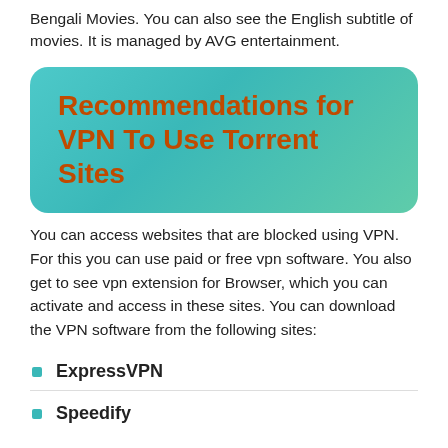Bengali Movies. You can also see the English subtitle of movies. It is managed by AVG entertainment.
Recommendations for VPN To Use Torrent Sites
You can access websites that are blocked using VPN. For this you can use paid or free vpn software. You also get to see vpn extension for Browser, which you can activate and access in these sites. You can download the VPN software from the following sites:
ExpressVPN
Speedify